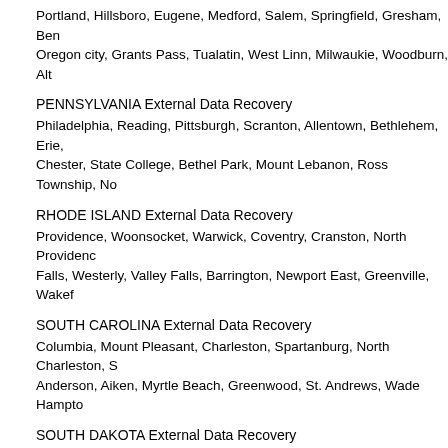Portland, Hillsboro, Eugene, Medford, Salem, Springfield, Gresham, Bend, Oregon city, Grants Pass, Tualatin, West Linn, Milwaukie, Woodburn, Alta
PENNSYLVANIA External Data Recovery
Philadelphia, Reading, Pittsburgh, Scranton, Allentown, Bethlehem, Erie, Chester, State College, Bethel Park, Mount Lebanon, Ross Township, No
RHODE ISLAND External Data Recovery
Providence, Woonsocket, Warwick, Coventry, Cranston, North Providence, Falls, Westerly, Valley Falls, Barrington, Newport East, Greenville, Wakef
SOUTH CAROLINA External Data Recovery
Columbia, Mount Pleasant, Charleston, Spartanburg, North Charleston, S Anderson, Aiken, Myrtle Beach, Greenwood, St. Andrews, Wade Hampto
SOUTH DAKOTA External Data Recovery
Sioux Falls, Mitchell, Rapid City, Pierre, Aberdeen, Yankton, Watertown, H Hot Springs
TENNESSEE External Data Recovery
Memphis, Murfreesboro, Nashville, Davidson,, Jackson, Knoxville, Johns Hendersonville, Bartlett, Germantown, Cleveland, Columbia, Collierville, O Ridge, Lebanon